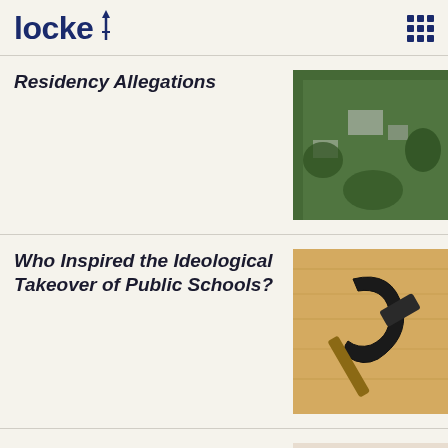locke
Residency Allegations
[Figure (photo): Aerial view of a rural property with buildings surrounded by trees and green lawn]
Who Inspired the Ideological Takeover of Public Schools?
[Figure (photo): Hammer and sickle symbol placed on a wooden surface]
Behind Those Big Jobs Numbers
[Figure (photo): A person in work clothes sitting with head down, holding their hands together]
Sign up for our weekly newsletter to stay up to date